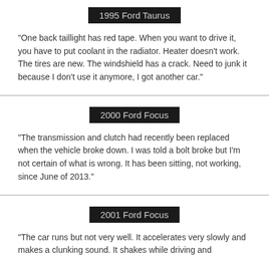1995 Ford Taurus
"One back taillight has red tape. When you want to drive it, you have to put coolant in the radiator. Heater doesn't work. The tires are new. The windshield has a crack. Need to junk it because I don't use it anymore, I got another car."
2000 Ford Focus
"The transmission and clutch had recently been replaced when the vehicle broke down. I was told a bolt broke but I'm not certain of what is wrong. It has been sitting, not working, since June of 2013."
2001 Ford Focus
"The car runs but not very well. It accelerates very slowly and makes a clunking sound. It shakes while driving and